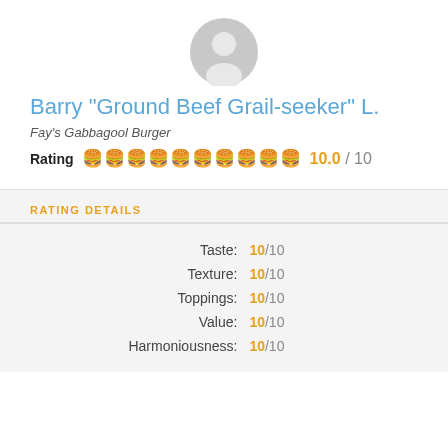[Figure (illustration): Generic user avatar icon, grey silhouette of a person]
Barry "Ground Beef Grail-seeker" L.
Fay's Gabbagool Burger
Rating 🍔🍔🍔🍔🍔🍔🍔🍔🍔🍔 10.0 / 10
RATING DETAILS
| Category | Score |
| --- | --- |
| Taste: | 10/10 |
| Texture: | 10/10 |
| Toppings: | 10/10 |
| Value: | 10/10 |
| Harmoniousness: | 10/10 |